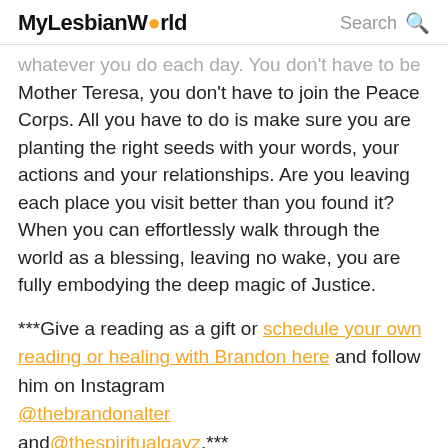MyLesbianWorld  Search 🔍
whatever you do each day.  You don't have to be Mother Teresa, you don't have to join the Peace Corps. All you have to do is make sure you are planting the right seeds with your words, your actions and your relationships.  Are you leaving each place you visit better than you found it? When you can effortlessly walk through the world as a blessing, leaving no wake, you are fully embodying the deep magic of Justice.
***Give a reading as a gift or schedule your own reading or healing with Brandon here and follow him on Instagram @thebrandonalter and@thespiritualgayz.*** PISCES.